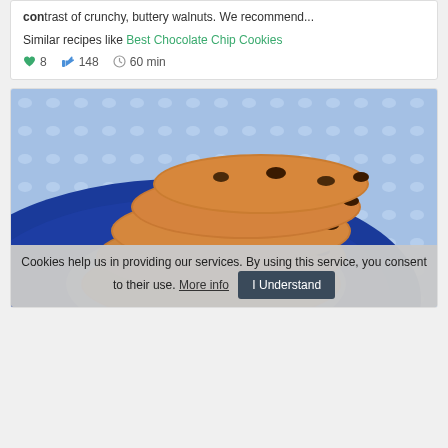contrast of crunchy, buttery walnuts. We recommend...
Similar recipes like Best Chocolate Chip Cookies
8   148   60 min
[Figure (photo): Stack of chocolate chip cookies on a blue plate with a blue and white polka dot tablecloth background]
Cookies help us in providing our services. By using this service, you consent to their use. More info   I Understand